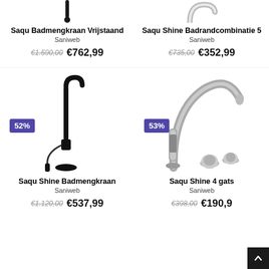[Figure (photo): Partial top of a black freestanding bath faucet/tap, cropped at top]
[Figure (photo): Partial top of a chrome bath combination faucet, cropped at top]
Saqu Badmengkraan Vrijstaand
Saniweb
€1.590,00  €762,99
Saqu Shine Badrandcombinatie 5
Saniweb
€735,00  €352,99
[Figure (photo): Black freestanding bath mixer tap with handheld shower, 52% discount badge]
[Figure (photo): Chrome 4-hole bath combination set with large spout and controls, 53% discount badge]
Saqu Shine Badmengkraan
Saniweb
€1.120,00  €537,99
Saqu Shine 4 gats
Saniweb
€398,00  €190,9...